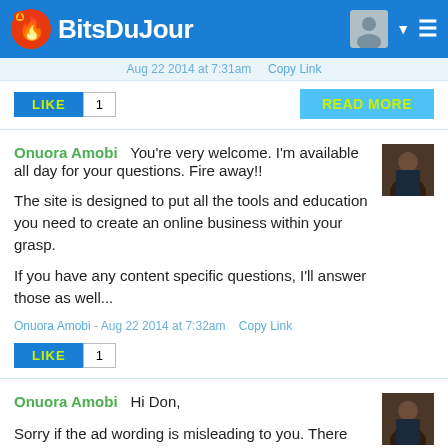Bits Du Jour
Aug 22 2014 at 7:31am   Copy Link
LIKE  1   READ MORE
Onuora Amobi  You're very welcome. I'm available all day for your questions. Fire away!!

The site is designed to put all the tools and education you need to create an online business within your grasp.

If you have any content specific questions, I'll answer those as well...
Onuora Amobi - Aug 22 2014 at 7:32am   Copy Link
LIKE  1
Onuora Amobi  Hi Don,

Sorry if the ad wording is misleading to you. There was no malicious intent there at all.